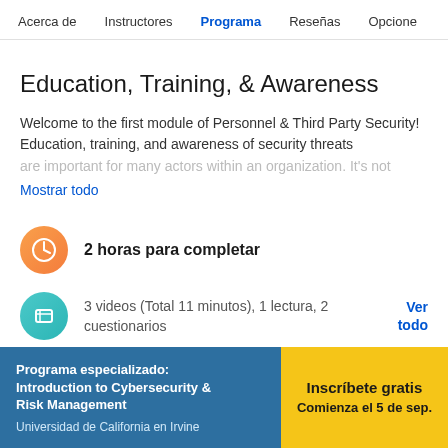Acerca de   Instructores   Programa   Reseñas   Opcione
Education, Training, & Awareness
Welcome to the first module of Personnel & Third Party Security! Education, training, and awareness of security threats are important for many actors within an organization. It's not
Mostrar todo
2 horas para completar
3 videos (Total 11 minutos), 1 lectura, 2 cuestionarios
Ver todo
Programa especializado: Introduction to Cybersecurity & Risk Management
Universidad de California en Irvine
Inscríbete gratis
Comienza el 5 de sep.